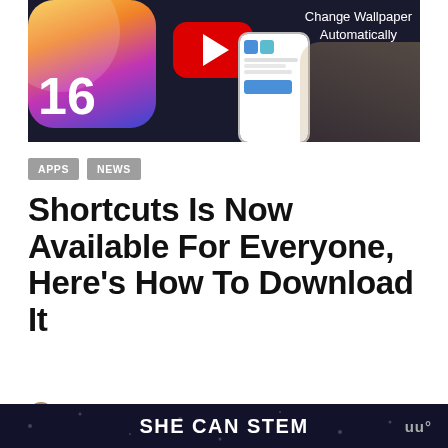[Figure (screenshot): YouTube thumbnail showing iOS 16 badge on left, YouTube red play button in center, hands holding smartphone with text 'Change Wallpaper Automatically' in top right, dark background]
APPS
NEWS
Shortcuts Is Now Available For Everyone, Here's How To Download It
by Zaib Ali · September 17, 2018 · 1 minute read
SHE CAN STEM